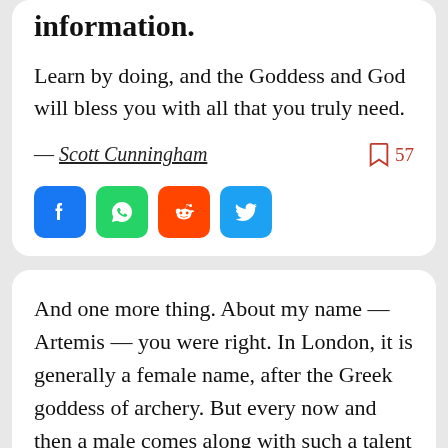information.
Learn by doing, and the Goddess and God will bless you with all that you truly need.
— Scott Cunningham   57
[Figure (other): Social share buttons: Facebook, WhatsApp, Reddit, Twitter]
And one more thing. About my name — Artemis — you were right. In London, it is generally a female name, after the Greek goddess of archery. But every now and then a male comes along with such a talent for hunting that he earns the right to use the